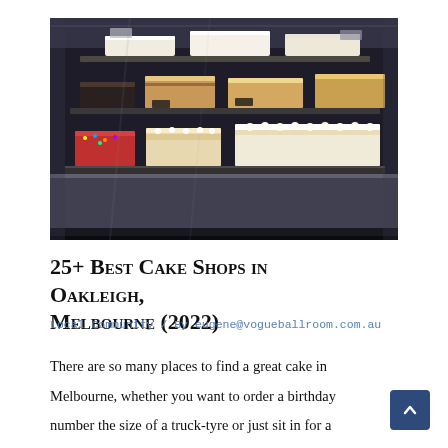[Figure (photo): A glass bakery display case with multiple shelves showing various cakes and pastries — cream cakes, layered slices, tarts and decorated desserts arranged on illuminated shelves.]
25+ Best Cake Shops in Oakleigh, Melbourne (2022)
Local Community / By eugene@vogueballroom.com.au
There are so many places to find a great cake in Melbourne, whether you want to order a birthday number the size of a truck-tyre or just sit in for a